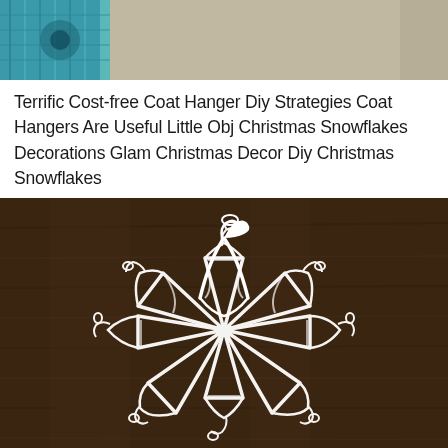[Figure (photo): Partial view of teal/turquoise knitted or crocheted fabric object on a beige/tan surface, cropped at top of page]
Terrific Cost-free Coat Hanger Diy Strategies Coat Hangers Are Useful Little Obj Christmas Snowflakes Decorations Glam Christmas Decor Diy Christmas Snowflakes
[Figure (photo): Photograph of white plastic coat hangers arranged in a radial snowflake pattern on a dark brown wooden surface]